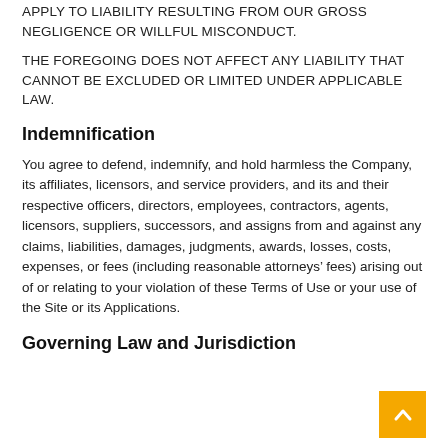APPLY TO LIABILITY RESULTING FROM OUR GROSS NEGLIGENCE OR WILLFUL MISCONDUCT.
THE FOREGOING DOES NOT AFFECT ANY LIABILITY THAT CANNOT BE EXCLUDED OR LIMITED UNDER APPLICABLE LAW.
Indemnification
You agree to defend, indemnify, and hold harmless the Company, its affiliates, licensors, and service providers, and its and their respective officers, directors, employees, contractors, agents, licensors, suppliers, successors, and assigns from and against any claims, liabilities, damages, judgments, awards, losses, costs, expenses, or fees (including reasonable attorneys’ fees) arising out of or relating to your violation of these Terms of Use or your use of the Site or its Applications.
Governing Law and Jurisdiction